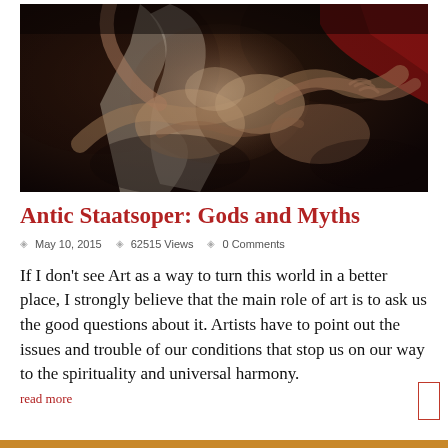[Figure (photo): A dark oil painting detail showing intertwined human figures with dramatic chiaroscuro lighting; figures appear mythological, with pale flesh tones against a dark background, red drapery visible at top right.]
Antic Staatsoper: Gods and Myths
May 10, 2015   62515 Views   0 Comments
If I don't see Art as a way to turn this world in a better place, I strongly believe that the main role of art is to ask us the good questions about it. Artists have to point out the issues and trouble of our conditions that stop us on our way to the spirituality and universal harmony.
read more